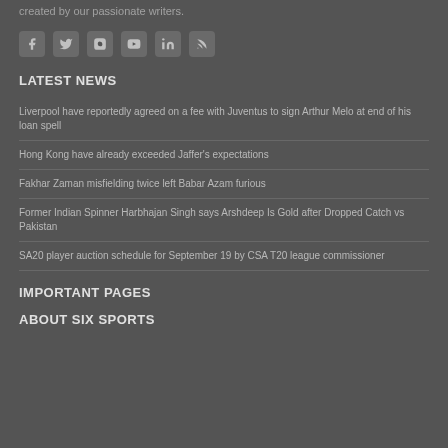created by our passionate writers.
[Figure (other): Social media icons: Facebook, Twitter, Instagram, YouTube, LinkedIn, RSS]
LATEST NEWS
Liverpool have reportedly agreed on a fee with Juventus to sign Arthur Melo at end of his loan spell
Hong Kong have already exceeded Jaffer's expectations
Fakhar Zaman misfielding twice left Babar Azam furious
Former Indian Spinner Harbhajan Singh says Arshdeep Is Gold after Dropped Catch vs Pakistan
SA20 player auction schedule for September 19 by CSA T20 league commissioner
IMPORTANT PAGES
ABOUT SIX SPORTS